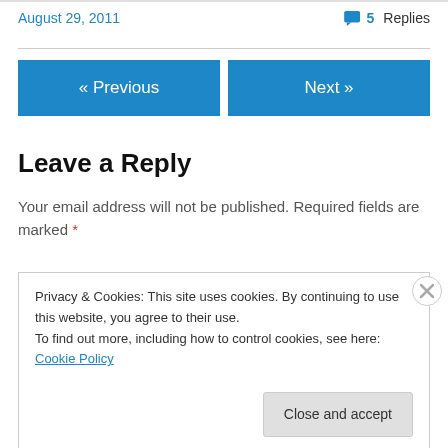August 29, 2011
5 Replies
« Previous
Next »
Leave a Reply
Your email address will not be published. Required fields are marked *
Privacy & Cookies: This site uses cookies. By continuing to use this website, you agree to their use. To find out more, including how to control cookies, see here: Cookie Policy
Close and accept